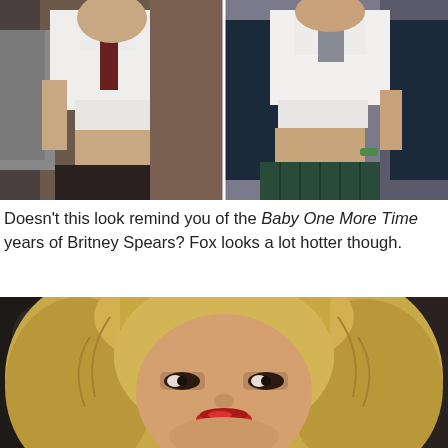[Figure (photo): Side-by-side comparison photos: left shows a woman in a knotted white shirt with a dark tie and grey jacket revealing midriff; right shows a woman in a knotted white shirt with a navy blue cardigan and plaid skirt revealing midriff.]
Doesn't this look remind you of the Baby One More Time years of Britney Spears? Fox looks a lot hotter though.
[Figure (photo): Close-up photo of a blonde woman with wavy layered hair and red lips, looking directly at the camera with a serious expression.]